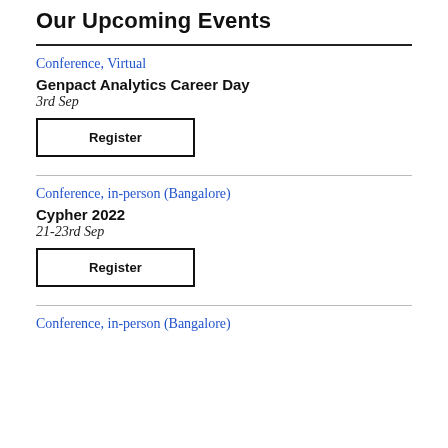Our Upcoming Events
Conference, Virtual
Genpact Analytics Career Day
3rd Sep
Register
Conference, in-person (Bangalore)
Cypher 2022
21-23rd Sep
Register
Conference, in-person (Bangalore)